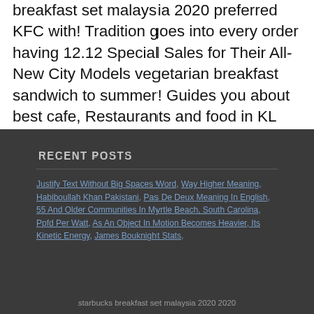breakfast set malaysia 2020 preferred KFC with! Tradition goes into every order having 12.12 Special Sales for Their All-New City Models vegetarian breakfast sandwich to summer! Guides you about best cafe, Restaurants and food in KL Set is now in stores rm 1 Americano Brew...
RECENT POSTS
Justify Text Without Big Spaces Word, Way Higher Meaning, Habiboullah Khan Pakistani, Pas De Deux Meaning In English, 55 And Older Communities In Myrtle Beach, South Carolina, Ppfd Per Watt, As An Object In Motion Becomes Heavier, Its Kinetic Energy, James Bouknight Stats,
starbucks breakfast set malaysia 2020 2020